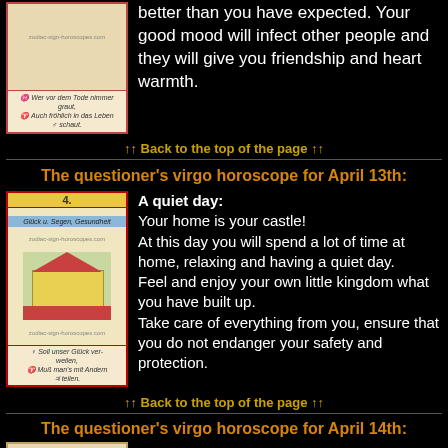[Figure (illustration): Tarot card with sunflower and German text]
better than you have expected. Your good mood will infect other people and they will give you friendship and heart warmth.
↑↑ Back to the top of the page ↑↑
The questioner's virgo horoscope for April 13th:
[Figure (illustration): Tarot card number 4 showing a house with German text]
A quiet day:
Your home is your castle!
At this day you will spend a lot of time at home, relaxing and having a quiet day.
Feel and enjoy your own little kingdom what you have built up.
Take care of everything from you, ensure that you do not endanger your safety and protection.
↑↑ Back to the top of the page ↑↑
The questioner's virgo horoscope for April 14th: